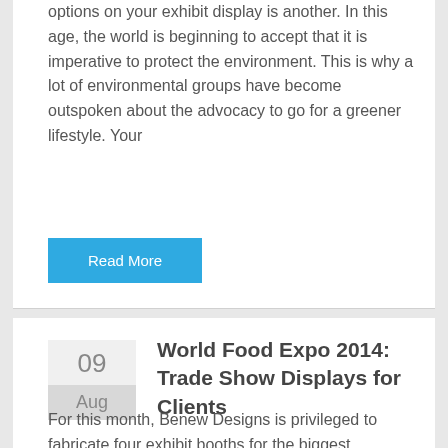options on your exhibit display is another. In this age, the world is beginning to accept that it is imperative to protect the environment. This is why a lot of environmental groups have become outspoken about the advocacy to go for a greener lifestyle. Your
Read More
World Food Expo 2014: Trade Show Displays for Clients
For this month, Benew Designs is privileged to fabricate four exhibit booths for the biggest